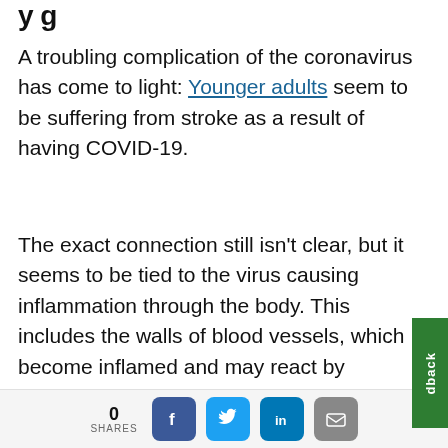y g
A troubling complication of the coronavirus has come to light: Younger adults seem to be suffering from stroke as a result of having COVID-19.
The exact connection still isn't clear, but it seems to be tied to the virus causing inflammation through the body. This includes the walls of blood vessels, which become inflamed and may react by clumping blood cells together into clots. These clots slow or stop normal blood flow and cause stroke. The lon the brain's blood flow is stopped, the wider th
0 SHARES [Facebook] [Twitter] [LinkedIn] [Email]